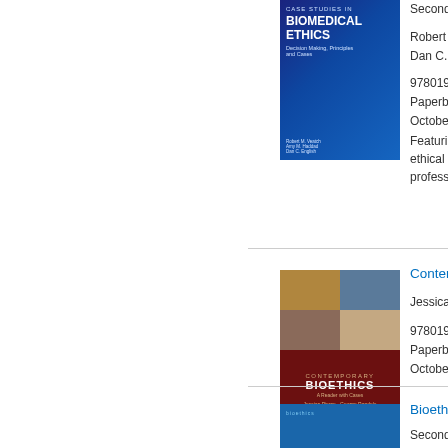[Figure (photo): Book cover: Case Studies in Biomedical Ethics, dark blue circuit-board themed cover]
Second E...
Robert M...
Dan C. B...
97801995...
Paperback
October 2...
Featuring... ethical qu... professio...
[Figure (photo): Book cover: Contemporary Bioethics, grid of images with dark red background]
Contemp...
Jessica P...
97801953...
Paperback
October 2...
[Figure (photo): Book cover: Bioethics, blue cover]
Bioethi...
Second E...